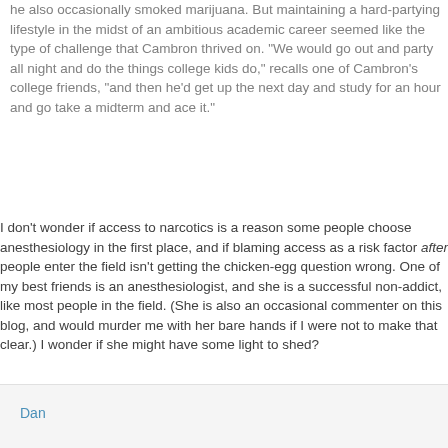he also occasionally smoked marijuana. But maintaining a hard-partying lifestyle in the midst of an ambitious academic career seemed like the type of challenge that Cambron thrived on. "We would go out and party all night and do the things college kids do," recalls one of Cambron's college friends, "and then he'd get up the next day and study for an hour and go take a midterm and ace it."
I don't wonder if access to narcotics is a reason some people choose anesthesiology in the first place, and if blaming access as a risk factor after people enter the field isn't getting the chicken-egg question wrong. One of my best friends is an anesthesiologist, and she is a successful non-addict, like most people in the field. (She is also an occasional commenter on this blog, and would murder me with her bare hands if I were not to make that clear.) I wonder if she might have some light to shed?
Dan